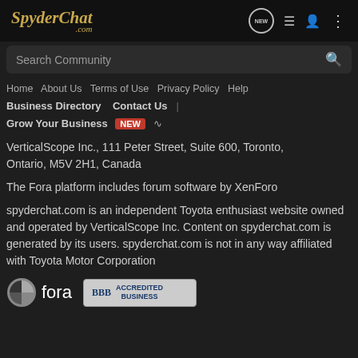SpyderChat.com
Search Community
Home   About Us   Terms of Use   Privacy Policy   Help
Business Directory   Contact Us   |   Grow Your Business   NEW
VerticalScope Inc., 111 Peter Street, Suite 600, Toronto, Ontario, M5V 2H1, Canada
The Fora platform includes forum software by XenForo
spyderchat.com is an independent Toyota enthusiast website owned and operated by VerticalScop Inc. Content on spyderchat.com is generated by its users. spyderchat.com is not in any way affiliated with Toyota Motor Corporation
[Figure (logo): Fora logo (circular icon with text 'fora') and BBB Accredited Business badge]